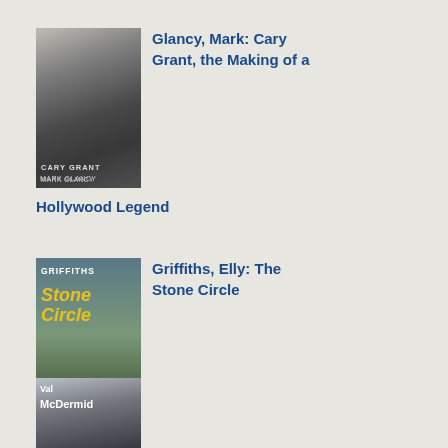[Figure (photo): Book cover for 'Cary Grant, the Making of a Hollywood Legend' by Mark Glancy, showing a black and white portrait photo of Cary Grant]
Glancy, Mark: Cary Grant, the Making of a Hollywood Legend
[Figure (photo): Book cover for 'The Stone Circle' by Elly Griffiths, showing stone standing stones in a field]
Griffiths, Elly: The Stone Circle
[Figure (photo): Book cover by Val McDermid, partially visible]
will dea with floo I will cha my bec tom as I am goi to ins Ka sle in it on Sa nig